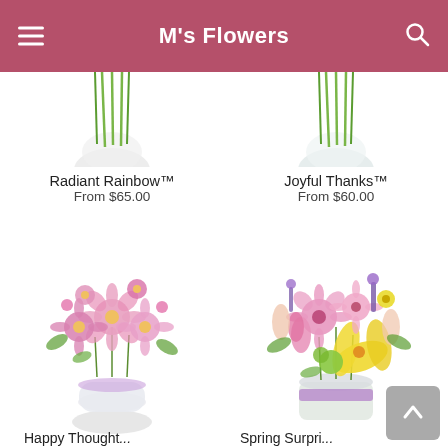M's Flowers
[Figure (photo): Partial view of Radiant Rainbow flower arrangement in clear vase, top cropped]
[Figure (photo): Partial view of Joyful Thanks flower arrangement in clear vase, top cropped]
Radiant Rainbow™
From $65.00
Joyful Thanks™
From $60.00
[Figure (photo): Happy Thoughts pink flower bouquet in round glass vase with purple ribbon]
[Figure (photo): Spring Surprise colorful flower arrangement with yellow lilies, pink gerberas in vase with purple ribbon]
Happy Thought...
Spring Surpri...